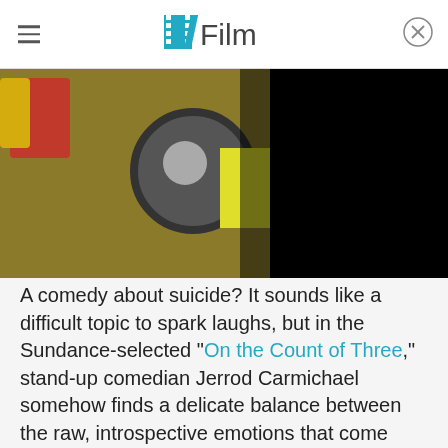/Film
[Figure (photo): A person in a red and yellow costume working on a car tire/wheel, photographed outdoors. Right portion of the image is black/dark.]
A comedy about suicide? It sounds like a difficult topic to spark laughs, but in the Sundance-selected "On the Count of Three," stand-up comedian Jerrod Carmichael somehow finds a delicate balance between the raw, introspective emotions that come from depression and suicidal thoughts and the dark comedy that can come from following two best friends who form a suicide pact to kill each other by the end of the day.